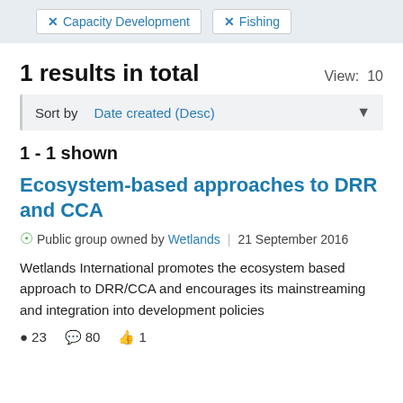× Capacity Development  × Fishing
1 results in total
View:  10
Sort by   Date created (Desc)
1 - 1 shown
Ecosystem-based approaches to DRR and CCA
Public group owned by Wetlands  |  21 September 2016
Wetlands International promotes the ecosystem based approach to DRR/CCA and encourages its mainstreaming and integration into development policies
23  80  1